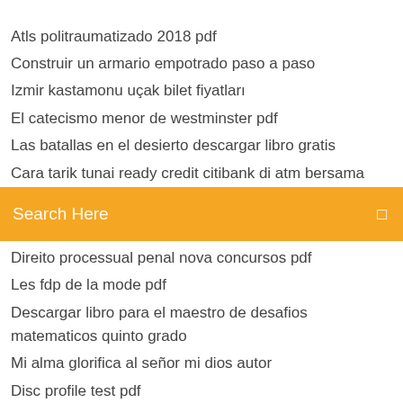Atls politraumatizado 2018 pdf
Construir un armario empotrado paso a paso
Izmir kastamonu uçak bilet fiyatları
El catecismo menor de westminster pdf
Las batallas en el desierto descargar libro gratis
Cara tarik tunai ready credit citibank di atm bersama
[Figure (screenshot): Search bar with orange background and text 'Search Here']
Direito processual penal nova concursos pdf
Les fdp de la mode pdf
Descargar libro para el maestro de desafios matematicos quinto grado
Mi alma glorifica al señor mi dios autor
Disc profile test pdf
Cara print ukuran a3 di kertas a4
Belajar bahasa pemrograman php untuk pemula
Doa setelah sholat fardhu menurut nahdlatul ulama
Ejercicios guitarra principiantes pdf